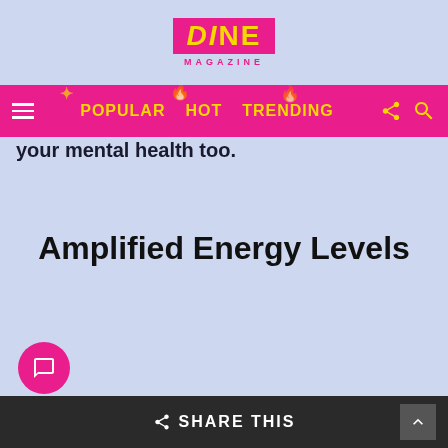DINE MAGAZINE
POPULAR HOT TRENDING
your mental health too.
Amplified Energy Levels
SHARE THIS